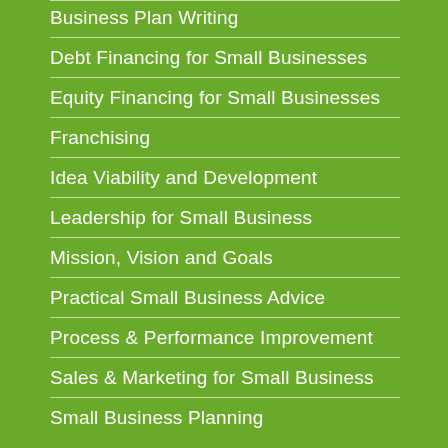Business Plan Writing
Debt Financing for Small Businesses
Equity Financing for Small Businesses
Franchising
Idea Viability and Development
Leadership for Small Business
Mission, Vision and Goals
Practical Small Business Advice
Process & Performance Improvement
Sales & Marketing for Small Business
Small Business Planning